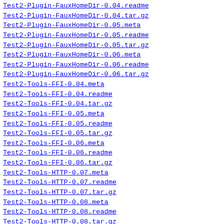Test2-Plugin-FauxHomeDir-0.04.readme  18-Apr
Test2-Plugin-FauxHomeDir-0.04.tar.gz  18-Apr
Test2-Plugin-FauxHomeDir-0.05.meta    24-May
Test2-Plugin-FauxHomeDir-0.05.readme  24-May
Test2-Plugin-FauxHomeDir-0.05.tar.gz  24-May
Test2-Plugin-FauxHomeDir-0.06.meta    30-Jan
Test2-Plugin-FauxHomeDir-0.06.readme  30-Jan
Test2-Plugin-FauxHomeDir-0.06.tar.gz  30-Jan
Test2-Tools-FFI-0.04.meta             16-Feb
Test2-Tools-FFI-0.04.readme           16-Feb
Test2-Tools-FFI-0.04.tar.gz           16-Feb
Test2-Tools-FFI-0.05.meta             18-Feb
Test2-Tools-FFI-0.05.readme           18-Feb
Test2-Tools-FFI-0.05.tar.gz           18-Feb
Test2-Tools-FFI-0.06.meta             15-Jun
Test2-Tools-FFI-0.06.readme           15-Jun
Test2-Tools-FFI-0.06.tar.gz           15-Jun
Test2-Tools-HTTP-0.07.meta            02-Jun
Test2-Tools-HTTP-0.07.readme          02-Jun
Test2-Tools-HTTP-0.07.tar.gz          02-Jun
Test2-Tools-HTTP-0.08.meta            02-Jun
Test2-Tools-HTTP-0.08.readme          02-Jun
Test2-Tools-HTTP-0.08.tar.gz          02-Jun
Test2-Tools-HTTP-0.09.meta            16-May
Test2-Tools-HTTP-0.09.readme          16-May
Test2-Tools-HTTP-0.09.tar.gz          16-May
Test2-Tools-HTTP-0.10.meta            30-Mar
Test2-Tools-HTTP-0.10.readme          30-Mar
Test2-Tools-HTTP-0.10.tar.gz          30-Mar
Test2-Tools-HTTP-0.11.meta            31-Aug